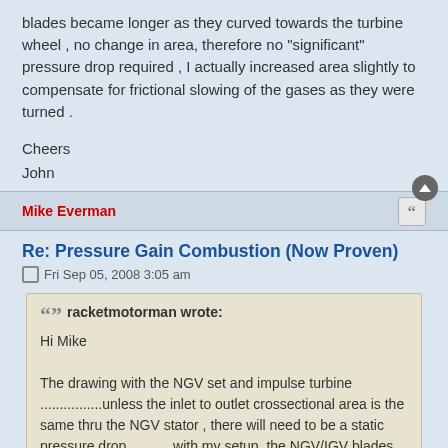blades became longer as they curved towards the turbine wheel , no change in area, therefore no "significant" pressure drop required , I actually increased area slightly to compensate for frictional slowing of the gases as they were turned .
Cheers
John
Mike Everman
Re: Pressure Gain Combustion (Now Proven)
Fri Sep 05, 2008 3:05 am
racketmotorman wrote:
Hi Mike

The drawing with the NGV set and impulse turbine ................unless the inlet to outlet crossectional area is the same thru the NGV stator , there will need to be a static pressure drop , .........with my setup, the NGV/IGV blades became longer as they curved towards the turbine wheel , no change in area, therefore no "significant" pressure drop required , I actually increased area slightly to compensate for frictional slowing of the gases as they were turned .